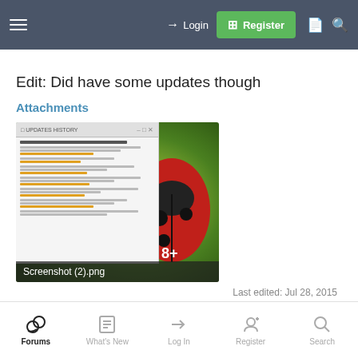Login | Register
Edit: Did have some updates though
Attachments
[Figure (screenshot): A screenshot thumbnail showing a Windows Update list with orange-colored update links, overlaid on a blurred green background photo with a ladybug. Caption reads 'Screenshot (2).png']
Last edited: Jul 28, 2015
Forums | What's New | Log In | Register | Search